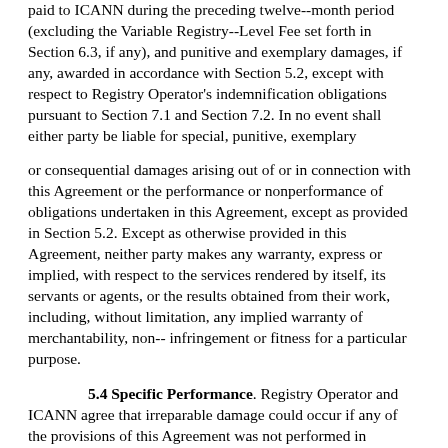paid to ICANN during the preceding twelve--month period (excluding the Variable Registry--Level Fee set forth in Section 6.3, if any), and punitive and exemplary damages, if any, awarded in accordance with Section 5.2, except with respect to Registry Operator's indemnification obligations pursuant to Section 7.1 and Section 7.2. In no event shall either party be liable for special, punitive, exemplary
or consequential damages arising out of or in connection with this Agreement or the performance or nonperformance of obligations undertaken in this Agreement, except as provided in Section 5.2. Except as otherwise provided in this Agreement, neither party makes any warranty, express or implied, with respect to the services rendered by itself, its servants or agents, or the results obtained from their work, including, without limitation, any implied warranty of merchantability, non--infringement or fitness for a particular purpose.
5.4 Specific Performance. Registry Operator and ICANN agree that irreparable damage could occur if any of the provisions of this Agreement was not performed in accordance with its specific terms. Accordingly, the parties agree that they each shall be entitled to seek from the arbitrator or court of competent jurisdiction specific performance of the terms of this Agreement (in addition to any other remedy to which each party